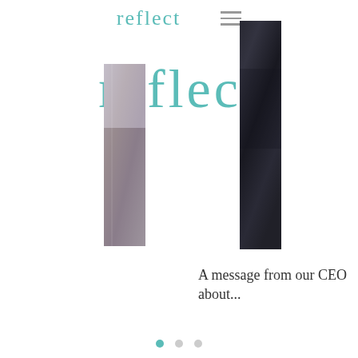reflect
reflect
[Figure (photo): Left side partial photo showing a blurred interior scene with purple/grey tones]
[Figure (photo): Right side partial photo showing dark fabric or leather texture in near-black tones]
A message from our CEO about...
● ○ ○
reflect
Areas we service  San Francisco  |  East Bay  |  Peninsula  |  South Bay  |  Los Angeles  |  Other CA  |  Washington